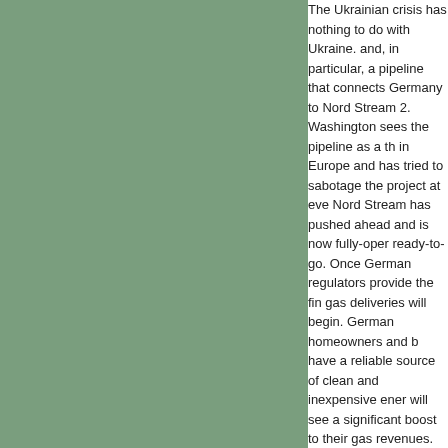The Ukrainian crisis has nothing to do with Ukraine. and, in particular, a pipeline that connects Germany to Nord Stream 2. Washington sees the pipeline as a threat in Europe and has tried to sabotage the project at every Nord Stream has pushed ahead and is now fully-operational ready-to-go. Once German regulators provide the final gas deliveries will begin. German homeowners and b have a reliable source of clean and inexpensive ener will see a significant boost to their gas revenues. It's a for both parties.
read full story / add a comment
related link: https://www.unz.com/mwhitney/the-crisis-in-ukraine- ukraine-its-about-germany/
Flawed Defence Forces Commission
national / anti-war / imperialism / opinion/analysis  Thursday 20:36  by Joe Terry
From the outset, the composition of the Defence Forces Commission was flawed. The list of members does not represent the Ireland in a balanced way. Of the fifteen commission thirds are pro-EU ex-military men and officials favouring military spending; people who benefit from enhanced opportunities, have vested interests in remuneration, promotions, salaries, pensions and medals, resulting in military budget allocation. Foreign agents, Haakon Br Norwegian, Anja Dalgaard-Nielsen a Dane and Esa F should have no place on neutral Ireland's Defence Forces Commission.